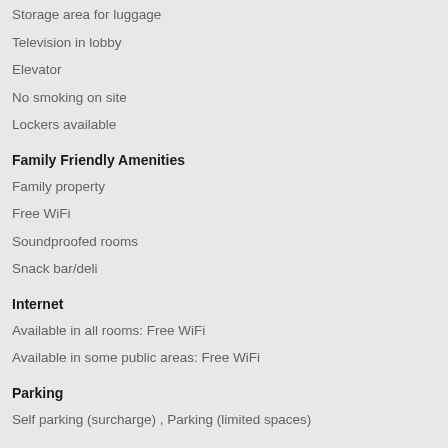Storage area for luggage
Television in lobby
Elevator
No smoking on site
Lockers available
Family Friendly Amenities
Family property
Free WiFi
Soundproofed rooms
Snack bar/deli
Internet
Available in all rooms: Free WiFi
Available in some public areas: Free WiFi
Parking
Self parking (surcharge) , Parking (limited spaces)